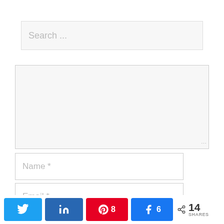Search ...
Name *
Email *
Website
Twitter, LinkedIn, Pinterest 8, Facebook 6, < 14 SHARES